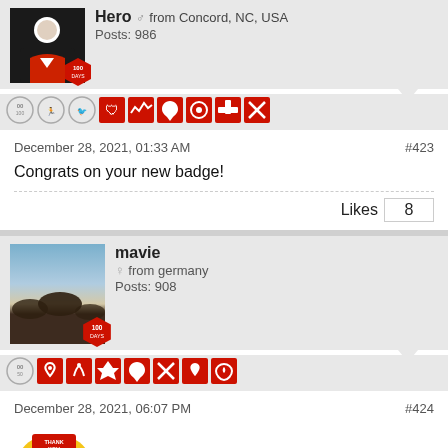Hero ♂ from Concord, NC, USA
Posts: 986
[Figure (screenshot): User badges row for Hero including a 100 days badge and various achievement icons]
December 28, 2021, 01:33 AM
#423
Congrats on your new badge!
Likes  8
mavie
♀ from germany
Posts: 908
[Figure (screenshot): User badges row for mavie including a 100 days badge and various achievement icons]
December 28, 2021, 06:07 PM
#424
[Figure (photo): Thank You sticker emoji image]